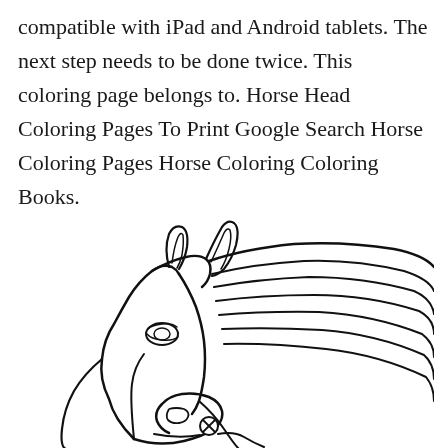compatible with iPad and Android tablets. The next step needs to be done twice. This coloring page belongs to. Horse Head Coloring Pages To Print Google Search Horse Coloring Pages Horse Coloring Coloring Books.
[Figure (illustration): A line-drawing coloring page illustration of a horse head in profile, facing left, with flowing mane, detailed eye, pointed ears, and a bridle with a circular buckle near the mouth. The drawing is black outlines on white background, uncolored.]